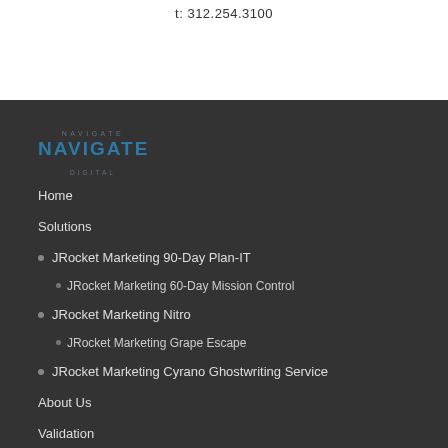t: 312.254.3100
[Figure (logo): Navigate Digital logo with NAVIGATE text in bold blue and smaller subtext above and below]
Home
Solutions
JRocket Marketing 90-Day Plan-IT
JRocket Marketing 60-Day Mission Control
JRocket Marketing Nitro
JRocket Marketing Grape Escape
JRocket Marketing Cyrano Ghostwriting Service
About Us
Validation